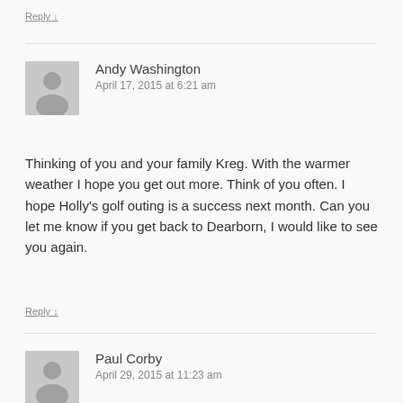Reply ↓
Andy Washington
April 17, 2015 at 6:21 am
Thinking of you and your family Kreg. With the warmer weather I hope you get out more. Think of you often. I hope Holly's golf outing is a success next month. Can you let me know if you get back to Dearborn, I would like to see you again.
Reply ↓
Paul Corby
April 29, 2015 at 11:23 am